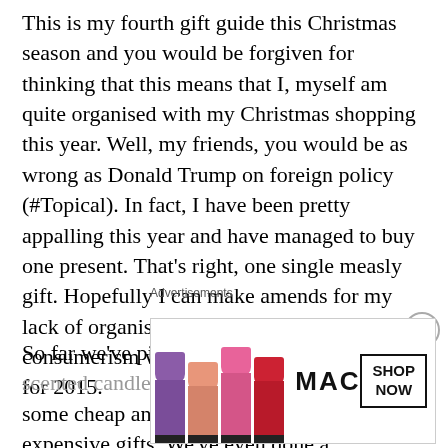This is my fourth gift guide this Christmas season and you would be forgiven for thinking that this means that I, myself am quite organised with my Christmas shopping this year. Well, my friends, you would be as wrong as Donald Trump on foreign policy (#Topical). In fact, I have been pretty appalling this year and have managed to buy one present. That's right, one single measly gift. Hopefully I can make amends for my lack of organisation and yuletide consumerism with this, my final gift guide for 2015.
So far we've picked out some delightful scented candles and oohed and ahhed at some cheap and mindblowingly expensive gifts. We've even done a round-up of Escentual gifts for perfume lovers too!
[Figure (other): MAC cosmetics advertisement banner showing lipsticks in purple, salmon, and pink colors, MAC logo, and a SHOP NOW button box]